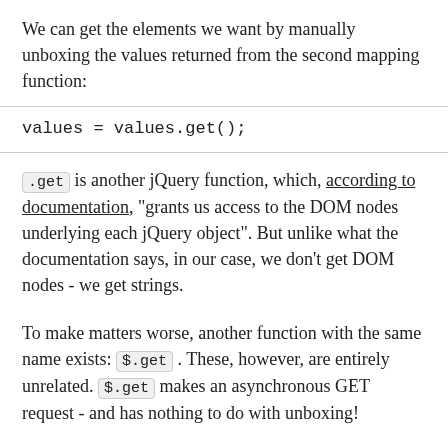We can get the elements we want by manually unboxing the values returned from the second mapping function:
values = values.get();
.get is another jQuery function, which, according to documentation, "grants us access to the DOM nodes underlying each jQuery object". But unlike what the documentation says, in our case, we don't get DOM nodes - we get strings.
To make matters worse, another function with the same name exists: $.get . These, however, are entirely unrelated. $.get makes an asynchronous GET request - and has nothing to do with unboxing!
.values.get() could actually be replaced with